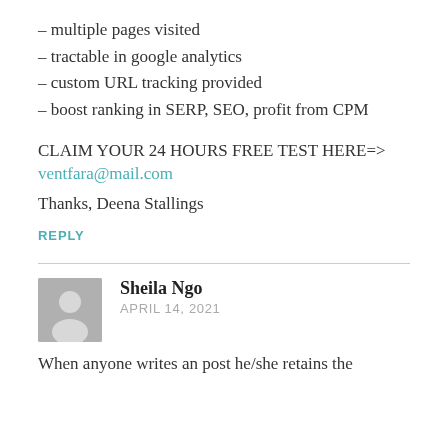– multiple pages visited
– tractable in google analytics
– custom URL tracking provided
– boost ranking in SERP, SEO, profit from CPM
CLAIM YOUR 24 HOURS FREE TEST HERE=>
ventfara@mail.com
Thanks, Deena Stallings
REPLY
Sheila Ngo
APRIL 14, 2021
When anyone writes an post he/she retains the